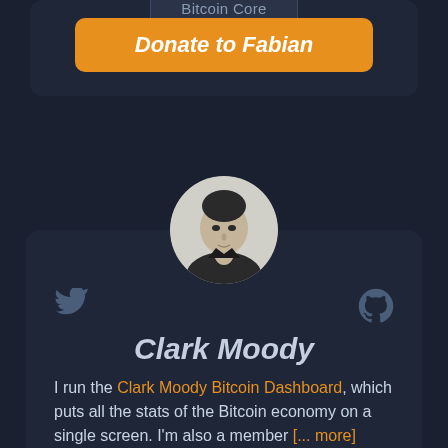Bitcoin Core
Donate to Fabian
[Figure (photo): Black and white circular portrait photo of Clark Moody]
Clark Moody
I run the Clark Moody Bitcoin Dashboard, which puts all the stats of the Bitcoin economy on a single screen. I'm also a member [... more]
Data
Dashboard
Rust
bech32